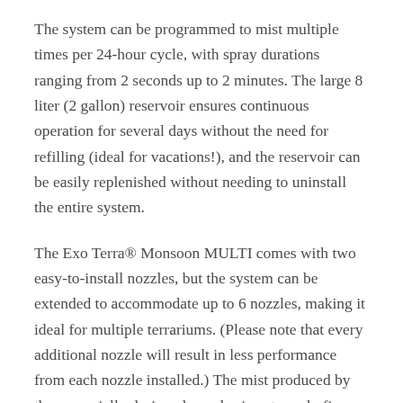The system can be programmed to mist multiple times per 24-hour cycle, with spray durations ranging from 2 seconds up to 2 minutes. The large 8 liter (2 gallon) reservoir ensures continuous operation for several days without the need for refilling (ideal for vacations!), and the reservoir can be easily replenished without needing to uninstall the entire system.
The Exo Terra® Monsoon MULTI comes with two easy-to-install nozzles, but the system can be extended to accommodate up to 6 nozzles, making it ideal for multiple terrariums. (Please note that every additional nozzle will result in less performance from each nozzle installed.) The mist produced by these specially designed nozzles is extremely fine, creating a fog-like effect in the terrarium or greenhouse, and the extra long tubing makes it possible to conceal